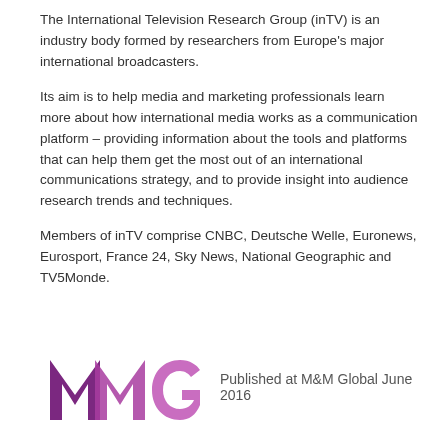The International Television Research Group (inTV) is an industry body formed by researchers from Europe's major international broadcasters.
Its aim is to help media and marketing professionals learn more about how international media works as a communication platform – providing information about the tools and platforms that can help them get the most out of an international communications strategy, and to provide insight into audience research trends and techniques.
Members of inTV comprise CNBC, Deutsche Welle, Euronews, Eurosport, France 24, Sky News, National Geographic and TV5Monde.
[Figure (logo): MMG logo in purple/magenta stylized letters]
Published at M&M Global June 2016